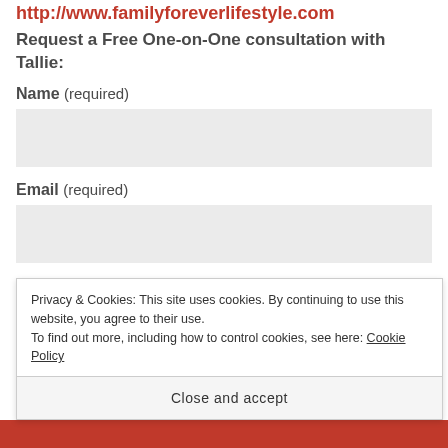http://www.familyforeverlifestyle.com
Request a Free One-on-One consultation with Tallie:
Name (required)
[Figure (other): Empty input field for Name]
Email (required)
[Figure (other): Empty input field for Email]
Website
Privacy & Cookies: This site uses cookies. By continuing to use this website, you agree to their use.
To find out more, including how to control cookies, see here: Cookie Policy
Close and accept